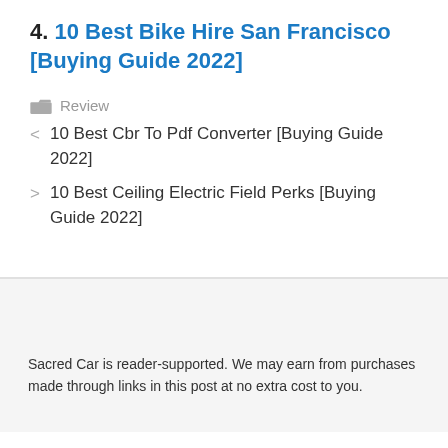4. 10 Best Bike Hire San Francisco [Buying Guide 2022]
Review
< 10 Best Cbr To Pdf Converter [Buying Guide 2022]
> 10 Best Ceiling Electric Field Perks [Buying Guide 2022]
Sacred Car is reader-supported. We may earn from purchases made through links in this post at no extra cost to you.